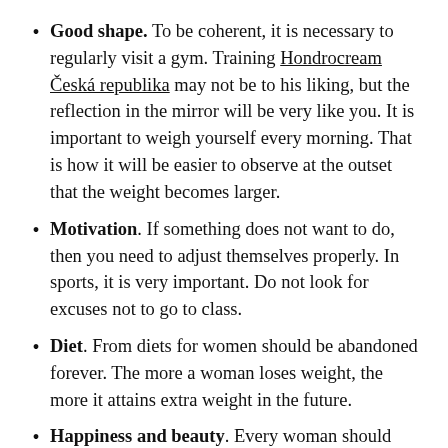Good shape. To be coherent, it is necessary to regularly visit a gym. Training Hondrocream Česká republika may not be to his liking, but the reflection in the mirror will be very like you. It is important to weigh yourself every morning. That is how it will be easier to observe at the outset that the weight becomes larger.
Motivation. If something does not want to do, then you need to adjust themselves properly. In sports, it is very important. Do not look for excuses not to go to class.
Diet. From diets for women should be abandoned forever. The more a woman loses weight, the more it attains extra weight in the future.
Happiness and beauty. Every woman should always love and be in love. Most families say how much you love them. Try not to think about the